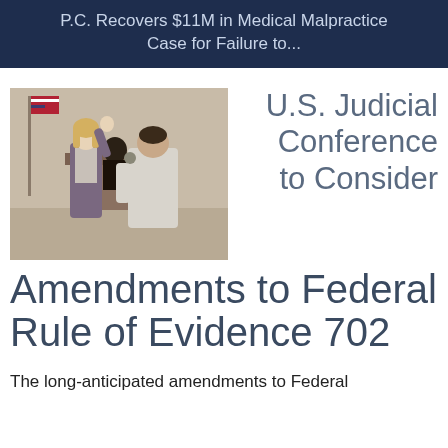P.C. Recovers $11M in Medical Malpractice Case for Failure to...
[Figure (photo): Courtroom scene showing a woman in business attire raising her hand as if being sworn in, a police officer or court official facing her, and a judge visible in the background. An American flag is also visible.]
U.S. Judicial Conference to Consider Amendments to Federal Rule of Evidence 702
The long-anticipated amendments to Federal